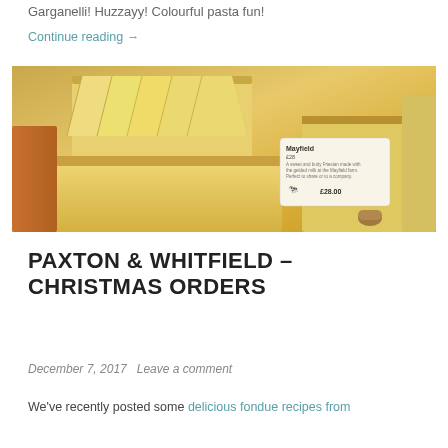Garganelli! Huzzayy! Colourful pasta fun!
Continue reading →
[Figure (photo): A display of various yellow and golden cheese wedges and blocks stacked together, with a price label showing 'Mayfield' and '£28.00' visible in the center.]
PAXTON & WHITFIELD – CHRISTMAS ORDERS
December 7, 2017   Leave a comment
We've recently posted some delicious fondue recipes from